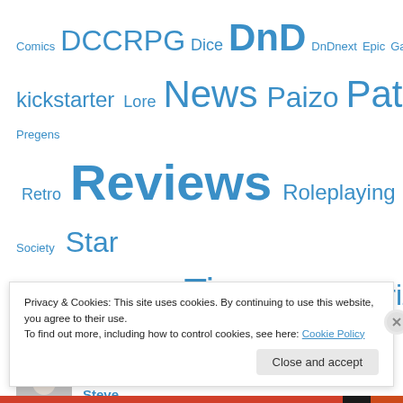[Figure (infographic): Tag cloud with various RPG/gaming category tags in different sizes and blue color: Comics, DCCRPG, Dice, DnD, DnDnext, Epic, Games, kickstarter, Lore, News, Paizo, Pathfinder, Pirates, Pregens, Retro, Reviews, Roleplaying, RPGs, Society, Star Wars, Technology, Tips, Uncategorized]
Contributors
Steve
Michael
Privacy & Cookies: This site uses cookies. By continuing to use this website, you agree to their use.
To find out more, including how to control cookies, see here: Cookie Policy
Close and accept